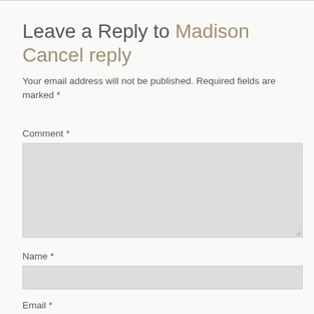Leave a Reply to Madison Cancel reply
Your email address will not be published. Required fields are marked *
Comment *
[Figure (other): Large comment text area input box]
Name *
[Figure (other): Name text input box]
Email *
[Figure (other): Email text input box (partially visible)]